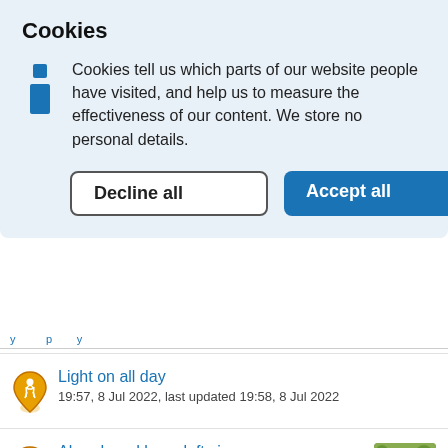Cookies
Cookies tell us which parts of our website people have visited, and help us to measure the effectiveness of our content. We store no personal details.
Decline all
Accept all
Light on all day
19:57, 8 Jul 2022, last updated 19:58, 8 Jul 2022
Abandoned keep left sign
[Figure (photo): Thumbnail photo of a blue keep left road sign]